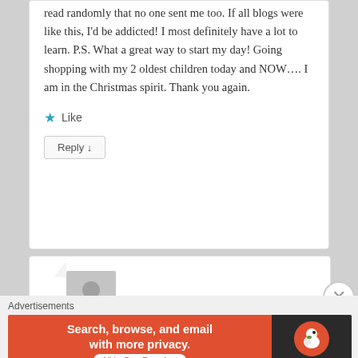this is my very first blog that I read randomly that no one sent me too. If all blogs were like this, I'd be addicted! I most definitely have a lot to learn. P.S. What a great way to start my day! Going shopping with my 2 oldest children today and NOW…. I am in the Christmas spirit. Thank you again.
★ Like
Reply ↓
[Figure (screenshot): Partial second comment card with avatar placeholder silhouette]
[Figure (other): Close/dismiss button (X in circle) on right side]
Advertisements
[Figure (other): DuckDuckGo advertisement banner: orange background with text 'Search, browse, and email with more privacy. All in One Free App' and DuckDuckGo logo on dark background]